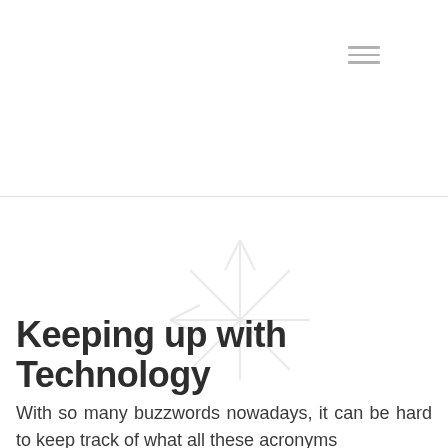[Figure (other): Hamburger menu icon with three horizontal lines in the upper right area of the page header]
Keeping up with Technology
With so many buzzwords nowadays, it can be hard to keep track of what all these acronyms